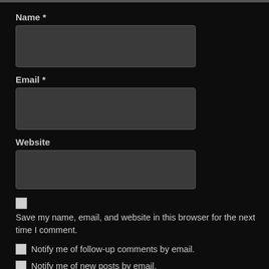Name *
[Figure (other): Text input field for Name]
Email *
[Figure (other): Text input field for Email]
Website
[Figure (other): Text input field for Website]
Save my name, email, and website in this browser for the next time I comment.
Notify me of follow-up comments by email.
Notify me of new posts by email.
POST COMMENT